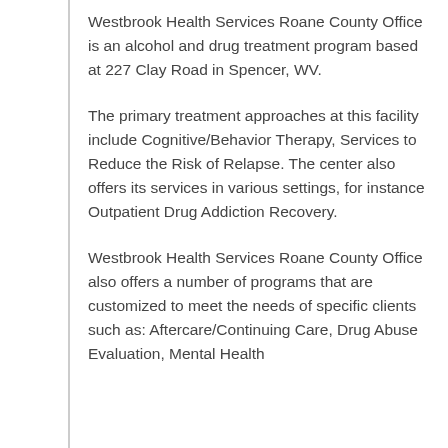Westbrook Health Services Roane County Office is an alcohol and drug treatment program based at 227 Clay Road in Spencer, WV.
The primary treatment approaches at this facility include Cognitive/Behavior Therapy, Services to Reduce the Risk of Relapse. The center also offers its services in various settings, for instance Outpatient Drug Addiction Recovery.
Westbrook Health Services Roane County Office also offers a number of programs that are customized to meet the needs of specific clients such as: Aftercare/Continuing Care, Drug Abuse Evaluation, Mental Health